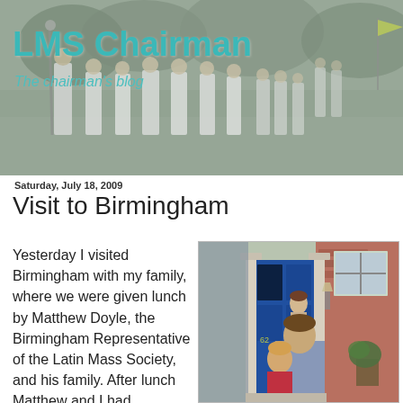[Figure (photo): Blog header banner showing a religious procession with people in white robes/vestments walking in a line, with trees in the background. Overlaid with blog title text.]
LMS Chairman
The chairman's blog
Saturday, July 18, 2009
Visit to Birmingham
Yesterday I visited Birmingham with my family, where we were given lunch by Matthew Doyle, the Birmingham Representative of the Latin Mass Society, and his family. After lunch Matthew and I had
[Figure (photo): Photograph of a man holding a young child in front of a brick house with a blue door, with a woman visible in the doorway behind them.]